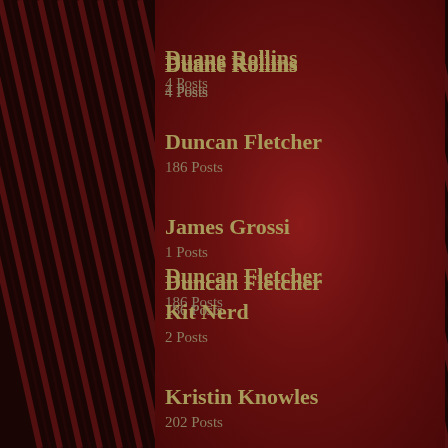Duane Rollins
4 Posts
Duncan Fletcher
186 Posts
James Grossi
1 Posts
Kit Nerd
2 Posts
Kristin Knowles
202 Posts